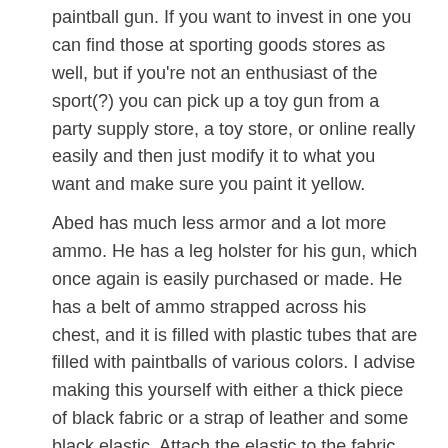paintball gun. If you want to invest in one you can find those at sporting goods stores as well, but if you're not an enthusiast of the sport(?) you can pick up a toy gun from a party supply store, a toy store, or online really easily and then just modify it to what you want and make sure you paint it yellow.
Abed has much less armor and a lot more ammo. He has a leg holster for his gun, which once again is easily purchased or made. He has a belt of ammo strapped across his chest, and it is filled with plastic tubes that are filled with paintballs of various colors. I advise making this yourself with either a thick piece of black fabric or a strap of leather and some black elastic. Attach the elastic to the fabric strip or leather so that there are numerous loops that a plastic tube could be pushed into and held in place. This is a really easy one to make with a hot glue gun. For the best look you may want to bite the bullet and actually just by a bunch of paintballs and fill tubes with